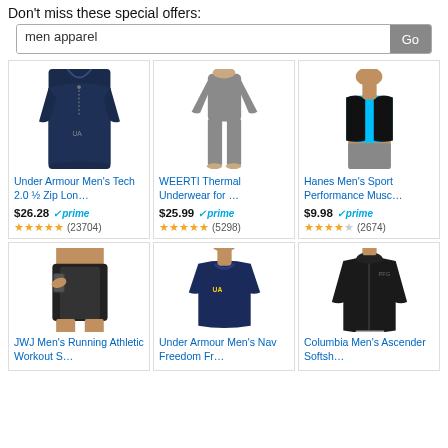Don't miss these special offers:
men apparel
[Figure (screenshot): Product card: Under Armour Men's Tech 2.0 1/2 Zip Lon... $26.28 prime, 4.8 stars (23704)]
[Figure (screenshot): Product card: WEERTI Thermal Underwear for ... $25.99 prime, 4.6 stars (5298)]
[Figure (screenshot): Product card: Hanes Men's Sport Performance Musc... $9.98 prime, 4.4 stars (2674)]
[Figure (screenshot): Product card: JWJ Men's Running Athletic Workout S... price/stars cut off]
[Figure (screenshot): Product card: Under Armour Men's Nav Freedom Fr... price/stars cut off]
[Figure (screenshot): Product card: Columbia Men's Ascender Softsh... price/stars cut off]